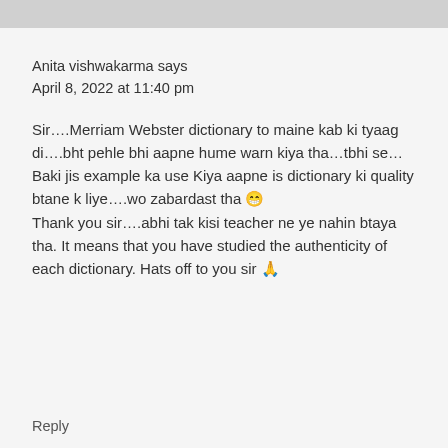Anita vishwakarma says
April 8, 2022 at 11:40 pm
Sir….Merriam Webster dictionary to maine kab ki tyaag di….bht pehle bhi aapne hume warn kiya tha…tbhi se…
Baki jis example ka use Kiya aapne is dictionary ki quality btane k liye….wo zabardast tha 😁
Thank you sir….abhi tak kisi teacher ne ye nahin btaya tha. It means that you have studied the authenticity of each dictionary. Hats off to you sir 🙏
Reply